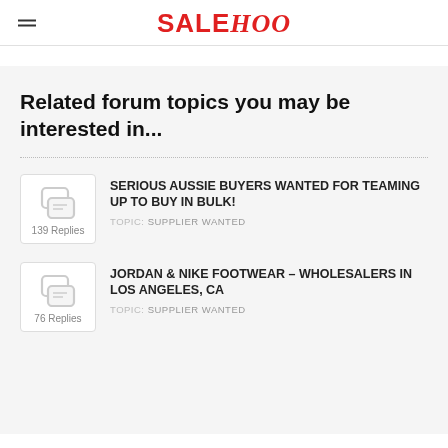SALEHOO
Related forum topics you may be interested in...
SERIOUS AUSSIE BUYERS WANTED FOR TEAMING UP TO BUY IN BULK! TOPIC: SUPPLIER WANTED — 139 Replies
JORDAN & NIKE FOOTWEAR – WHOLESALERS IN LOS ANGELES, CA TOPIC: SUPPLIER WANTED — 76 Replies